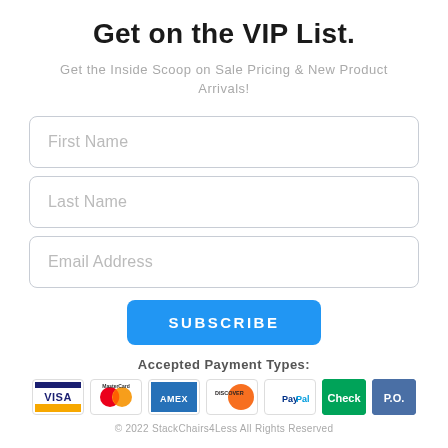Get on the VIP List.
Get the Inside Scoop on Sale Pricing & New Product Arrivals!
[Figure (screenshot): A web form with three input fields: First Name, Last Name, Email Address. Below a blue SUBSCRIBE button. Then accepted payment type icons: VISA, MasterCard, AMEX, Discover, PayPal, Check, P.O.]
© 2022 StackChairs4Less All Rights Reserved